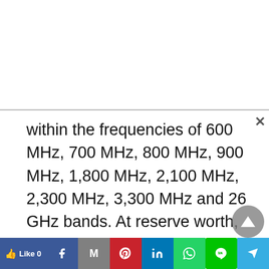within the frequencies of 600 MHz, 700 MHz, 800 MHz, 900 MHz, 1,800 MHz, 2,100 MHz, 2,300 MHz, 3,300 MHz and 26 GHz bands. At reserve worth, the whole thing of the spectrum is valued at over Rs 5 lakh crore.

Last 12 months, the Centre had introduced a telecom sector aid bundle, and a few aspects of the scheme have been included within the phrases of this public sale. A compulsory requirement to make upfront fee by the profitable bidders has
Like 0  [Facebook] [Gmail] [Pinterest] [LinkedIn] [WhatsApp] [Line] [Telegram]